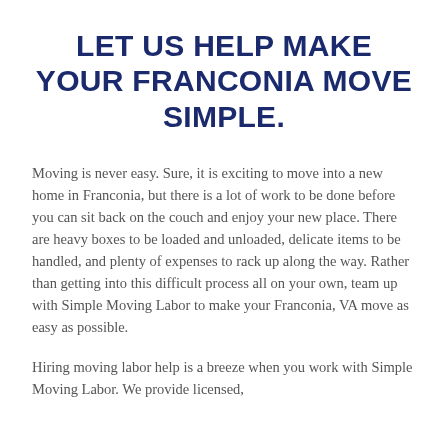LET US HELP MAKE YOUR FRANCONIA MOVE SIMPLE.
Moving is never easy. Sure, it is exciting to move into a new home in Franconia, but there is a lot of work to be done before you can sit back on the couch and enjoy your new place. There are heavy boxes to be loaded and unloaded, delicate items to be handled, and plenty of expenses to rack up along the way. Rather than getting into this difficult process all on your own, team up with Simple Moving Labor to make your Franconia, VA move as easy as possible.
Hiring moving labor help is a breeze when you work with Simple Moving Labor. We provide licensed,